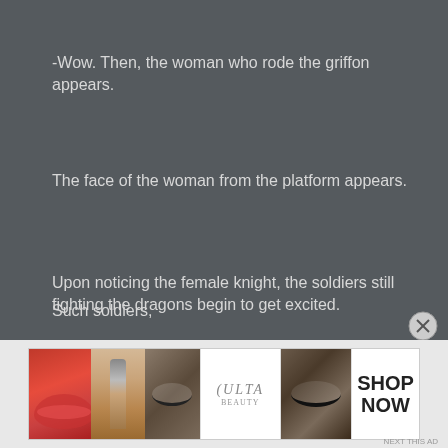-Wow. Then, the woman who rode the griffon appears.
The face of the woman from the platform appears.
Upon noticing the female knight, the soldiers still fighting the dragons begin to get excited.
Such soldiers,
[Figure (photo): Ulta Beauty advertisement banner showing close-up beauty images of lips, makeup brush, eye with mascara, Ulta Beauty logo, and a woman's eyes, with SHOP NOW button]